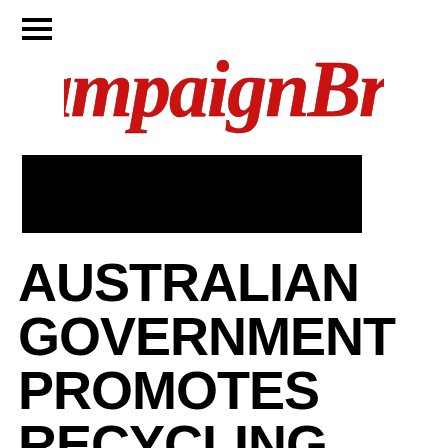≡
[Figure (logo): Campaign Brief logo in red cursive/script font]
[Figure (photo): Black rectangular hero image (redacted/blacked out)]
AUSTRALIAN GOVERNMENT PROMOTES RECYCLING WITH 'REMADE IN AUSTRALIA'